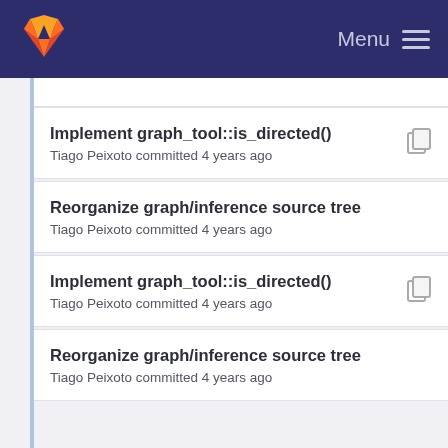Menu
Implement graph_tool::is_directed()
Tiago Peixoto committed 4 years ago
Reorganize graph/inference source tree
Tiago Peixoto committed 4 years ago
Implement graph_tool::is_directed()
Tiago Peixoto committed 4 years ago
Reorganize graph/inference source tree
Tiago Peixoto committed 4 years ago